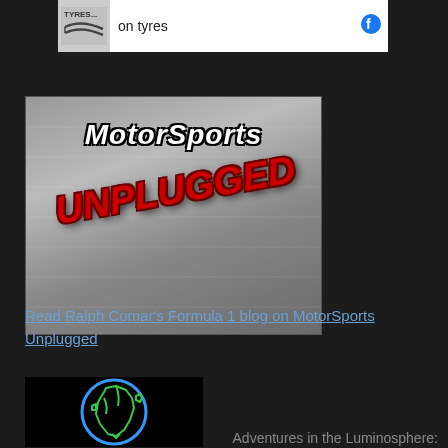[Figure (screenshot): Top partial image showing a tyres logo on the left, text 'on tyres' in the center, and a blue circular icon on the right, on a white background]
[Figure (logo): MotorSports Unplugged logo on a metallic grey background. 'MotorSports' in white bold italic text at top, 'UNPLUGGED' in large red bold italic text rotated diagonally across the lower portion.]
Read Ralph Comar's Formula 1 blog on MotorSports Unplugged
[Figure (illustration): Glowing neon illustration of a globe/Earth on a black background, with blue outer circle and green continent outlines showing Africa and surrounding regions]
Adventures in the Luminosphere: